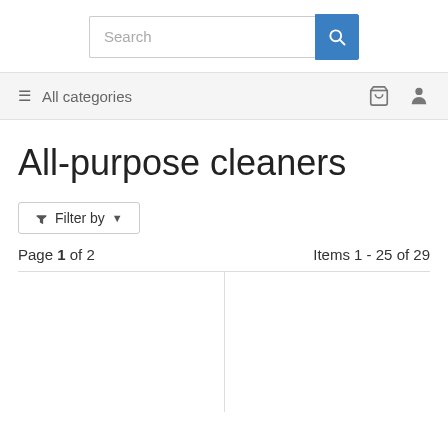Search
≡ All categories
All-purpose cleaners
Filter by
Page 1 of 2   Items 1 - 25 of 29